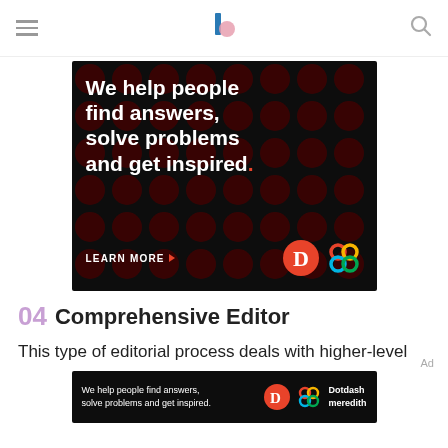Navigation header with hamburger menu, center logo, and search icon
[Figure (photo): Advertisement banner: dark background with red polka dots, bold white text 'We help people find answers, solve problems and get inspired.' with red period. LEARN MORE button with orange arrow. Dotdash red circle logo and colorful Meredith knot logo.]
04 Comprehensive Editor
This type of editorial process deals with higher-level
[Figure (photo): Small advertisement banner: dark background, white text 'We help people find answers, solve problems and get inspired.' with Dotdash logo and Dotdash Meredith text.]